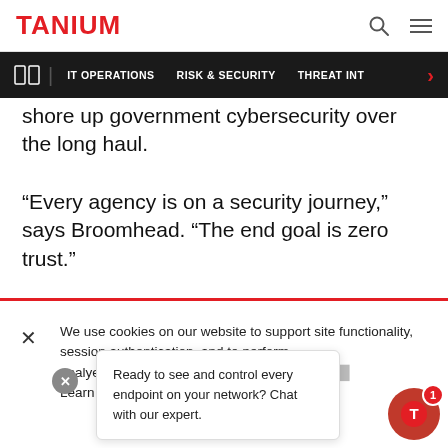TANIUM
IT OPERATIONS | RISK & SECURITY | THREAT INT
shore up government cybersecurity over the long haul.
“Every agency is on a security journey,” says Broomhead. “The end goal is zero trust.”
We use cookies on our website to support site functionality, session authentication, and to perform analyses. are giving us your c... Learn M...
Ready to see and control every endpoint on your network? Chat with our expert.